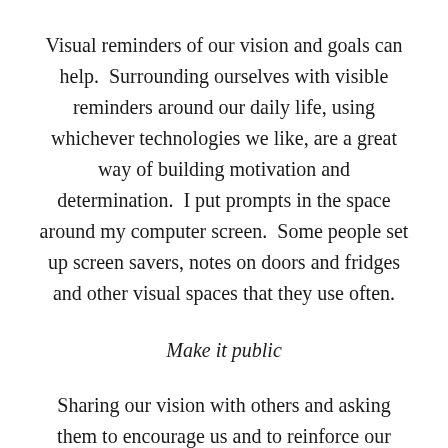Visual reminders of our vision and goals can help. Surrounding ourselves with visible reminders around our daily life, using whichever technologies we like, are a great way of building motivation and determination.  I put prompts in the space around my computer screen.  Some people set up screen savers, notes on doors and fridges and other visual spaces that they use often.
Make it public
Sharing our vision with others and asking them to encourage us and to reinforce our positive actions can be a great help.  Their nudging us along and